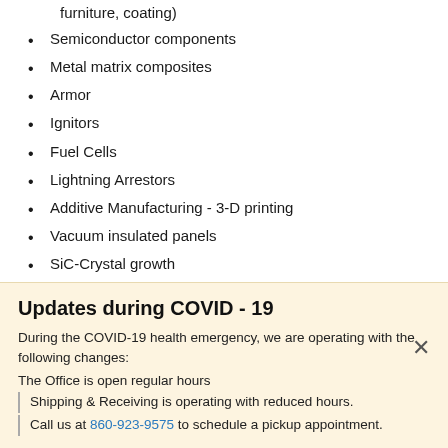furniture, coating)
Semiconductor components
Metal matrix composites
Armor
Ignitors
Fuel Cells
Lightning Arrestors
Additive Manufacturing - 3-D printing
Vacuum insulated panels
SiC-Crystal growth
Safety Data Sheets
[Figure (other): PDF file icon]
Updates during COVID - 19
During the COVID-19 health emergency, we are operating with the following changes:
The Office is open regular hours
Shipping & Receiving is operating with reduced hours.
Call us at 860-923-9575 to schedule a pickup appointment.